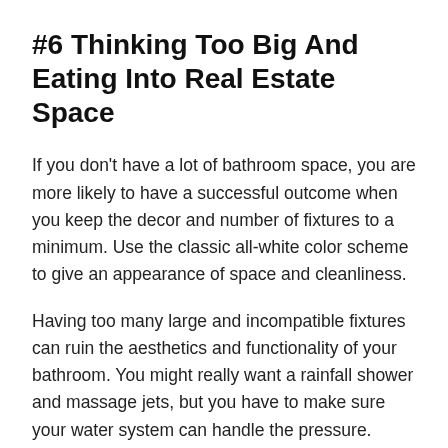#6 Thinking Too Big And Eating Into Real Estate Space
If you don't have a lot of bathroom space, you are more likely to have a successful outcome when you keep the decor and number of fixtures to a minimum. Use the classic all-white color scheme to give an appearance of space and cleanliness.
Having too many large and incompatible fixtures can ruin the aesthetics and functionality of your bathroom. You might really want a rainfall shower and massage jets, but you have to make sure your water system can handle the pressure.
Having too many large fixtures reduce the amount of open space in the bathroom and gives it a cramped,